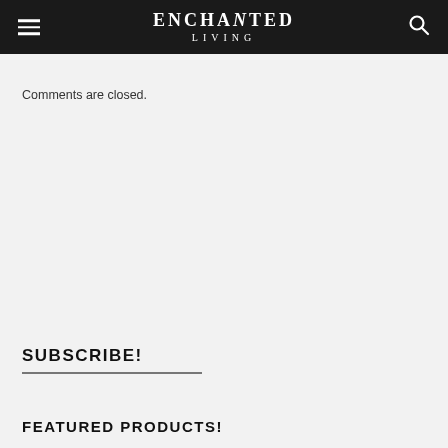ENCHANTED LIVING
Comments are closed.
SUBSCRIBE!
FEATURED PRODUCTS!